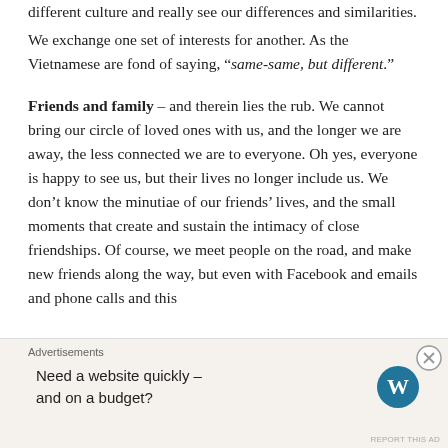different culture and really see our differences and similarities.
We exchange one set of interests for another. As the Vietnamese are fond of saying, “same-same, but different.”
Friends and family – and therein lies the rub. We cannot bring our circle of loved ones with us, and the longer we are away, the less connected we are to everyone. Oh yes, everyone is happy to see us, but their lives no longer include us. We don’t know the minutiae of our friends’ lives, and the small moments that create and sustain the intimacy of close friendships. Of course, we meet people on the road, and make new friends along the way, but even with Facebook and emails and phone calls and this
[Figure (infographic): Advertisement banner: 'Need a website quickly – and on a budget?' with WordPress logo]